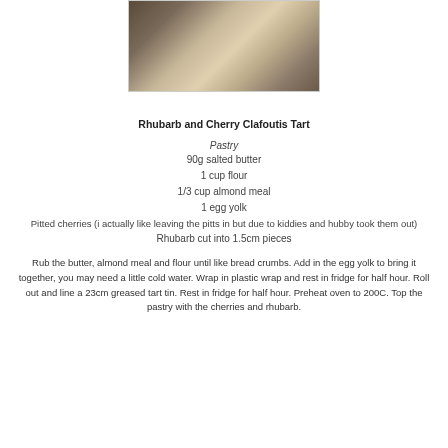[Figure (photo): Close-up photo of a baked tart with pastry crust on a wooden surface]
Rhubarb and Cherry Clafoutis Tart
Pastry
90g salted butter
1 cup flour
1/3 cup almond meal
1 egg yolk
Pitted cherries (i actually like leaving the pitts in but due to kiddies and hubby took them out)
Rhubarb cut into 1.5cm pieces
Rub the butter, almond meal and flour until like bread crumbs. Add in the egg yolk to bring it together, you may need a little cold water. Wrap in plastic wrap and rest in fridge for half hour. Roll out and line a 23cm greased tart tin. Rest in fridge for half hour. Preheat oven to 200C. Top the pastry with the cherries and rhubarb.